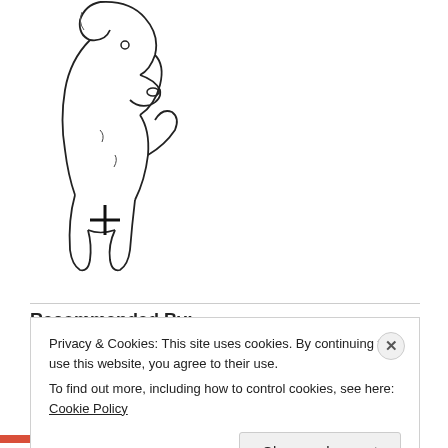[Figure (illustration): Cartoon line drawing of a sitting dog with a plus/cross symbol on its body, partially cropped at top.]
Recommended By:
[Figure (other): Broken image placeholder with text 'UK Expat Guide']
[Figure (other): Small broken image placeholder icon]
Privacy & Cookies: This site uses cookies. By continuing to use this website, you agree to their use.
To find out more, including how to control cookies, see here: Cookie Policy
Close and accept